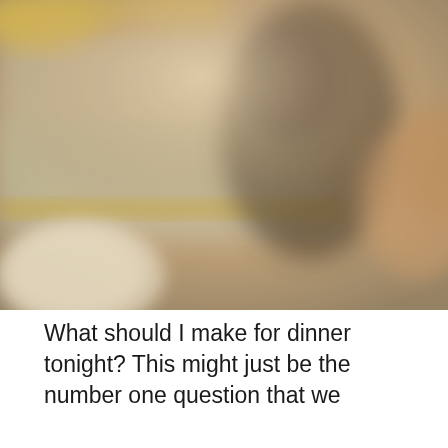[Figure (photo): A blurry, warm-toned photo of a dinner table scene. The image shows food items including what appear to be pasta or yellow vegetables in the upper left, a white plate in the lower left, and a dark blurred human figure in the center-right. The photo has a soft, hazy quality with muted golden and beige tones.]
What should I make for dinner tonight? This might just be the number one question that we